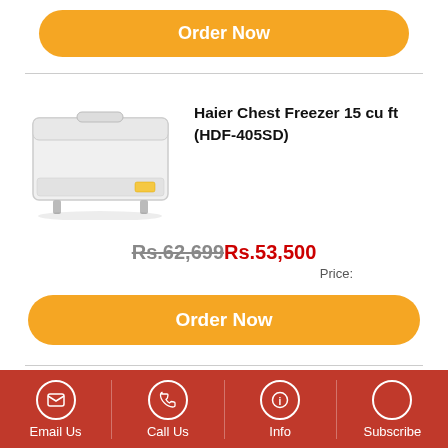[Figure (other): Orange rounded 'Order Now' button at top]
[Figure (photo): Haier Chest Freezer HDF-405SD white chest freezer product image]
Haier Chest Freezer 15 cu ft (HDF-405SD)
Rs.62,699 Rs.53,500
Price:
[Figure (other): Orange rounded 'Order Now' button]
Email Us  Call Us  Info  Subscribe